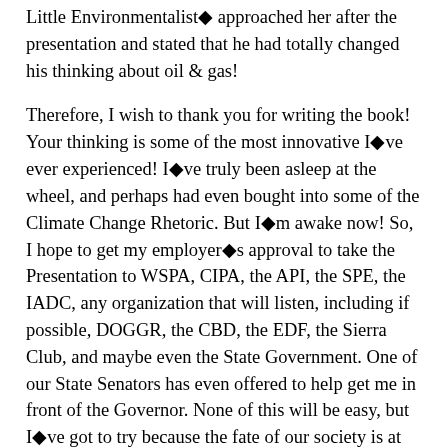Little Environmentalist◆ approached her after the presentation and stated that he had totally changed his thinking about oil & gas!
Therefore, I wish to thank you for writing the book! Your thinking is some of the most innovative I◆ve ever experienced! I◆ve truly been asleep at the wheel, and perhaps had even bought into some of the Climate Change Rhetoric. But I◆m awake now! So, I hope to get my employer◆s approval to take the Presentation to WSPA, CIPA, the API, the SPE, the IADC, any organization that will listen, including if possible, DOGGR, the CBD, the EDF, the Sierra Club, and maybe even the State Government. One of our State Senators has even offered to help get me in front of the Governor. None of this will be easy, but I◆ve got to try because the fate of our society is at stake!
Anyway, thanks again for the brilliant book, for all of your effort, and for the CIP website, which is highly